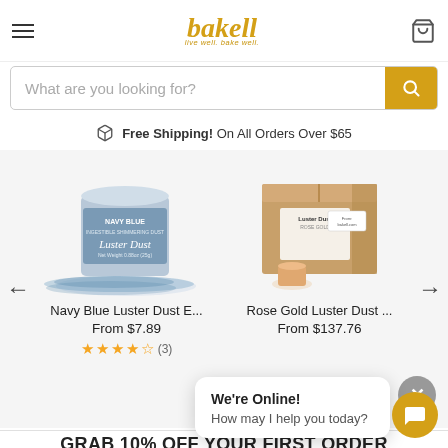bakell — live well. bake well.
What are you looking for?
Free Shipping! On All Orders Over $65
[Figure (photo): Navy Blue Luster Dust product image in can with blue powder spill]
Navy Blue Luster Dust E...
From $7.89
★★★★☆ (3)
[Figure (photo): Rose Gold Luster Dust product image in box with small jar]
Rose Gold Luster Dust ...
From $137.76
GRAB 10% OFF YOUR FIRST ORDER
We're Online!
How may I help you today?